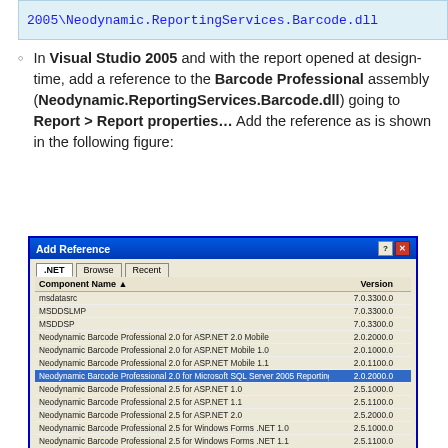[Figure (screenshot): Code block showing partial DLL path: 2005\Neodynamic.ReportingServices.Barcode.dll]
In Visual Studio 2005 and with the report opened at design-time, add a reference to the Barcode Professional assembly (Neodynamic.ReportingServices.Barcode.dll) going to Report > Report properties… Add the reference as is shown in the following figure:
[Figure (screenshot): Visual Studio 2005 Add Reference dialog showing .NET tab with a list of Neodynamic components. The selected row is 'Neodynamic Barcode Professional 2.0 for Microsoft SQL Server 2005 Reporting Services' version 2.0.2000.0. Other components listed include msdatasrc, MSDDSLMP, MSDDSP, and various Neodynamic Barcode Professional 2.0 and 2.5 editions. Bottom has Add and Remove buttons and Selected projects and components label.]